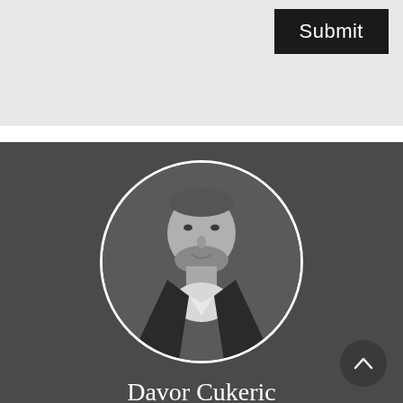[Figure (screenshot): Top light gray section with a black Submit button in the upper right corner]
Submit
[Figure (photo): Black and white circular portrait photo of Davor Cukeric, a real estate agent, wearing a dark blazer, shown against a gray background]
Davor Cukeric
Real Estate Agent, REALTOR®